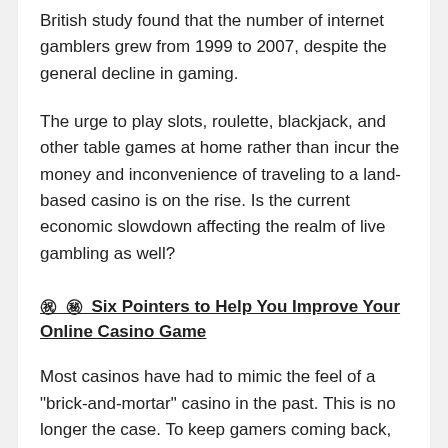British study found that the number of internet gamblers grew from 1999 to 2007, despite the general decline in gaming.
The urge to play slots, roulette, blackjack, and other table games at home rather than incur the money and inconvenience of traveling to a land-based casino is on the rise. Is the current economic slowdown affecting the realm of live gambling as well?
㊗ ㊙ Six Pointers to Help You Improve Your Online Casino Game
Most casinos have had to mimic the feel of a "brick-and-mortar" casino in the past. This is no longer the case. To keep gamers coming back, these designers and managers will have to supply almost-perfect software and game variation. In the